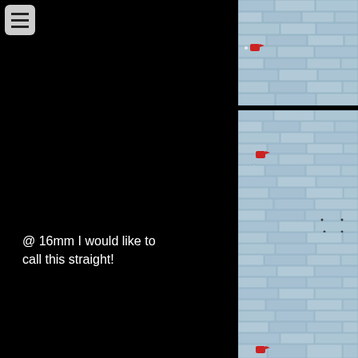[Figure (photo): Menu/hamburger icon button in top-left corner on grey rounded rectangle background]
[Figure (photo): Close-up photograph of a light blue painted brick wall with a small red marker/arrow pointing to a spot, top-right panel]
[Figure (photo): Photograph of a light blue painted brick wall with a small red marker/arrow and measurement markings, bottom-right tall panel]
@ 16mm I would like to call this straight!